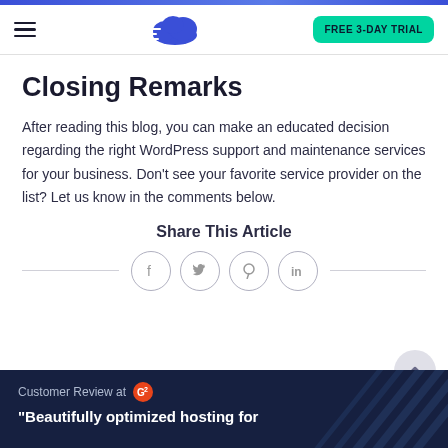Cloudways navigation header with logo and FREE 3-DAY TRIAL button
Closing Remarks
After reading this blog, you can make an educated decision regarding the right WordPress support and maintenance services for your business. Don't see your favorite service provider on the list? Let us know in the comments below.
Share This Article
[Figure (infographic): Social share icons in circles: Facebook, Twitter, Pinterest, LinkedIn, with horizontal divider lines on each side]
[Figure (infographic): Customer Review at G2 banner with quote: Beautifully optimized hosting for]
Customer Review at G2 — "Beautifully optimized hosting for